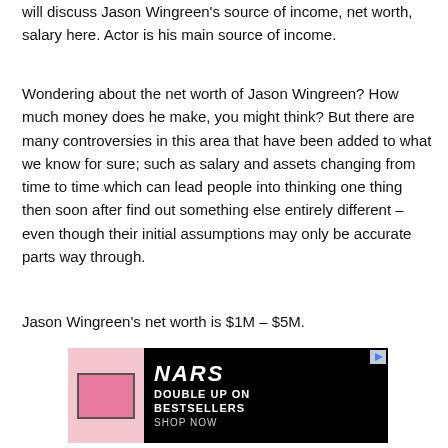will discuss Jason Wingreen's source of income, net worth, salary here. Actor is his main source of income.
Wondering about the net worth of Jason Wingreen? How much money does he make, you might think? But there are many controversies in this area that have been added to what we know for sure; such as salary and assets changing from time to time which can lead people into thinking one thing then soon after find out something else entirely different – even though their initial assumptions may only be accurate parts way through.
Jason Wingreen's net worth is $1M – $5M.
[Figure (photo): NARS cosmetics advertisement banner showing a pink blush product on the left and the text 'DOUBLE UP ON BESTSELLERS SHOP NOW' on a black background on the right.]